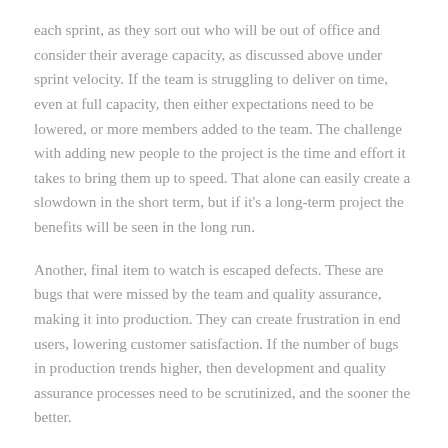each sprint, as they sort out who will be out of office and consider their average capacity, as discussed above under sprint velocity. If the team is struggling to deliver on time, even at full capacity, then either expectations need to be lowered, or more members added to the team. The challenge with adding new people to the project is the time and effort it takes to bring them up to speed. That alone can easily create a slowdown in the short term, but if it's a long-term project the benefits will be seen in the long run.
Another, final item to watch is escaped defects. These are bugs that were missed by the team and quality assurance, making it into production. They can create frustration in end users, lowering customer satisfaction. If the number of bugs in production trends higher, then development and quality assurance processes need to be scrutinized, and the sooner the better.
This was a simple 'Scrum Metrics 101,' and I hope you've found it